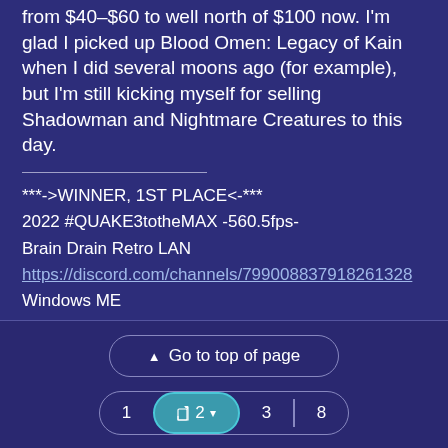from $40-$60 to well north of $100 now. I'm glad I picked up Blood Omen: Legacy of Kain when I did several moons ago (for example), but I'm still kicking myself for selling Shadowman and Nightmare Creatures to this day.
***->WINNER, 1ST PLACE<-***
2022 #QUAKE3totheMAX -560.5fps-
Brain Drain Retro LAN
https://discord.com/channels/799008837918261328
Windows ME
NForce2 A7N8X-E DLX
Athlon 848/154MHz
DDR@411MHz (2-3-3-3)
GeForce 256 DDR@144/344MHz
ESS Maestro-1
Go to top of page | 1 | 2 | 3 | 8